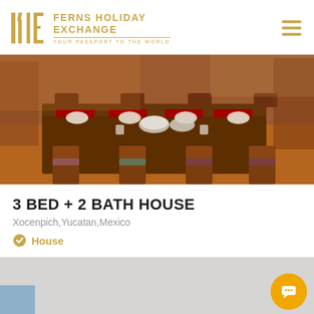FERNS HOLIDAY EXCHANGE — YOUR PASSPORT TO THE WORLD
[Figure (photo): Indoor dining room with dark wood furniture, long dining table set with plates and red placemats, multiple chairs, terracotta tile floor]
3 BED + 2 BATH HOUSE
Xocenpich,Yucatan,Mexico
House
[Figure (photo): Partial view of a room interior, appears to be a bedroom or living area with light colored walls]